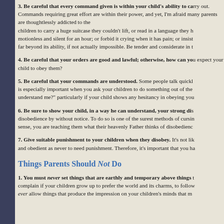3. Be careful that every command given is within your child's ability to carry out. Commands requiring great effort are within their power, and yet, I'm afraid many parents are thoughtlessly addicted to the extreme. It would be just as unreasonable to require children to carry a huge suitcase they couldn't lift, or read in a language they haven't learned, or remain motionless and silent for an hour; or forbid it crying when it has pain; or insist on behavior that requires development far beyond its ability, if not actually impossible. Be tender and considerate in the commands you give.
4. Be careful that your orders are good and lawful; otherwise, how can you expect your child to obey them?
5. Be careful that your commands are understood. Some people talk quickly and indistinctly, so that children cannot understand what is said to them. This is especially important when you ask your children to do something out of the ordinary. Always ask them, "Did you understand me?" particularly if your child shows any hesitancy in obeying you.
6. Be sure to show your child, in a way he can understand, your strong disapproval of disobedience. Never let a single act of disobedience by without notice. To do so is one of the surest methods of cursing your child. In a very real sense, you are teaching them what their heavenly Father thinks of disobedience.
7. Give suitable punishment to your children when they disobey. It's not likely that your children will be so perfectly trained and obedient as never to need punishment. Therefore, it's important that you have a proper idea of punishment.
Things Parents Should Not Do
1. You must never set things that are earthly and temporary above things that are heavenly and eternal. You have no right to complain if your children grow up to prefer the world and its charms, to follow the pursuit of money over all other concerns, if you ever allow things that produce the impression on your children's minds that money and worldly prosperity are the main things.